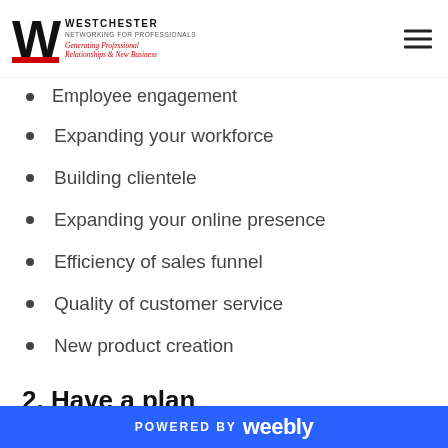Westchester Networking for Professionals — Generating Professional Relationships & New Business
Employee engagement
Expanding your workforce
Building clientele
Expanding your online presence
Efficiency of sales funnel
Quality of customer service
New product creation
2. Have a plan
Knowing what you want to achieve is always great, as it provides direction. However, just setting a goal is not
POWERED BY weebly